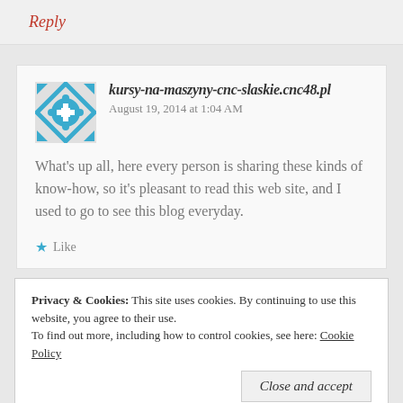Reply
kursy-na-maszyny-cnc-slaskie.cnc48.pl
August 19, 2014 at 1:04 AM
What's up all, here every person is sharing these kinds of know-how, so it's pleasant to read this web site, and I used to go to see this blog everyday.
Like
Privacy & Cookies:  This site uses cookies. By continuing to use this website, you agree to their use.
To find out more, including how to control cookies, see here: Cookie Policy
Close and accept
12:46 AM